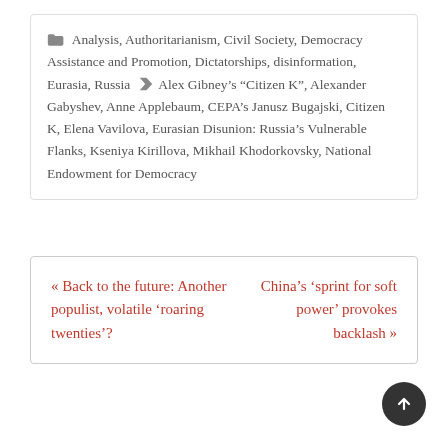Analysis, Authoritarianism, Civil Society, Democracy Assistance and Promotion, Dictatorships, disinformation, Eurasia, Russia | Alex Gibney's “Citizen K”, Alexander Gabyshev, Anne Applebaum, CEPA’s Janusz Bugajski, Citizen K, Elena Vavilova, Eurasian Disunion: Russia’s Vulnerable Flanks, Kseniya Kirillova, Mikhail Khodorkovsky, National Endowment for Democracy
« Back to the future: Another populist, volatile ‘roaring twenties’?
China’s ‘sprint for soft power’ provokes backlash »